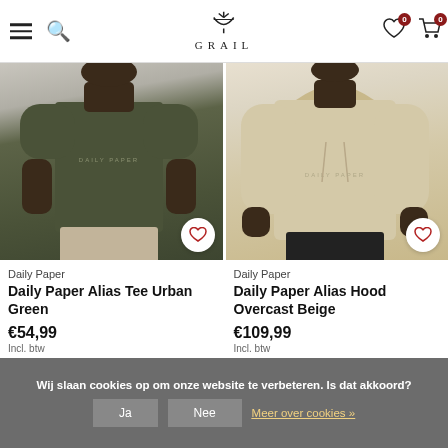GRAIL — navigation header with hamburger menu, search, logo, wishlist (0) and cart (0)
[Figure (photo): Person wearing dark olive green Daily Paper Alias Tee, cropped at torso]
Daily Paper
Daily Paper Alias Tee Urban Green
€54,99
Incl. btw
[Figure (photo): Person wearing overcast beige Daily Paper Alias Hood hoodie, cropped at torso]
Daily Paper
Daily Paper Alias Hood Overcast Beige
€109,99
Incl. btw
Wij slaan cookies op om onze website te verbeteren. Is dat akkoord?
Ja
Nee
Meer over cookies »